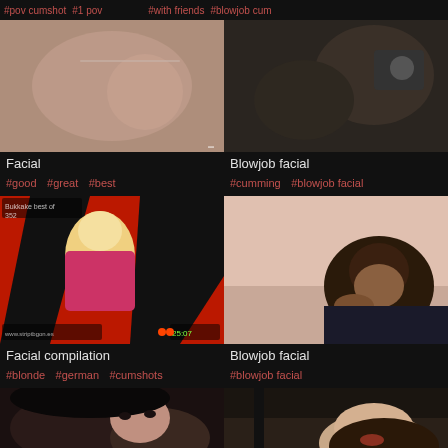#pov cumshot #1 pov #with friends #blowjob cum
[Figure (photo): Close-up photo thumbnail for Facial video]
Facial
#good #great #best
[Figure (photo): Dark close-up photo thumbnail for Blowjob facial video]
Blowjob facial
#cumming #blowjob facial
[Figure (photo): Blonde woman photo thumbnail for Facial compilation video]
Facial compilation
#blonde #german #cumshots
[Figure (photo): Woman photo thumbnail for Blowjob facial video]
Blowjob facial
#blowjob facial
[Figure (photo): Close-up photo thumbnail bottom left]
[Figure (photo): Woman photo thumbnail bottom right]